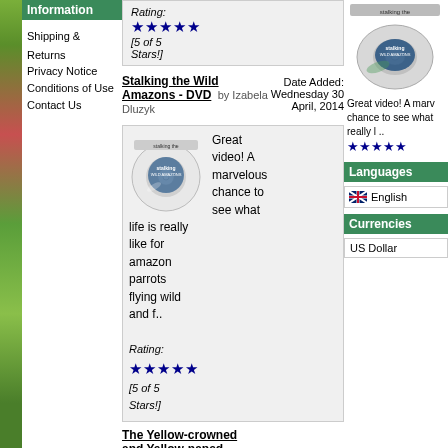Information
Shipping & Returns
Privacy Notice
Conditions of Use
Contact Us
Rating: ★★★★★ [5 of 5 Stars!]
Stalking the Wild Amazons - DVD by Izabela Dluzyk
Date Added: Wednesday 30 April, 2014
Great video! A marvelous chance to see what life is really like for amazon parrots flying wild and f..
Rating: ★★★★★ [5 of 5 Stars!]
The Yellow-crowned and Yellow-naped
Great video! A marv chance to see what really l ..
★★★★★
Languages
English
Currencies
US Dollar